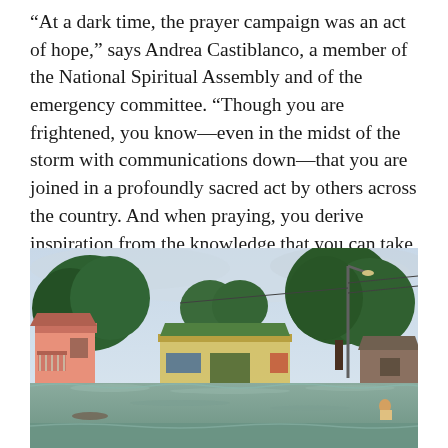“At a dark time, the prayer campaign was an act of hope,” says Andrea Castiblanco, a member of the National Spiritual Assembly and of the emergency committee. “Though you are frightened, you know—even in the midst of the storm with communications down—that you are joined in a profoundly sacred act by others across the country. And when praying, you derive inspiration from the knowledge that you can take unified action together afterwards.”
[Figure (photo): Flooded street scene showing submerged buildings and structures, large trees, a street lamp, and floodwaters covering roads and lower portions of buildings. A pink building with a balcony is visible on the left, a colorful structure in the center background, and makeshift rooftops on the right. Overcast sky. Appears to be a tropical flooding event.]